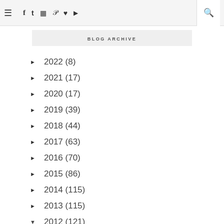≡ f t ☷ p ♥ ▶ 🔍
BLOG ARCHIVE
► 2022 (8)
► 2021 (17)
► 2020 (17)
► 2019 (39)
► 2018 (44)
► 2017 (63)
► 2016 (70)
► 2015 (86)
► 2014 (115)
► 2013 (115)
▼ 2012 (121)
► December 2012 (8)